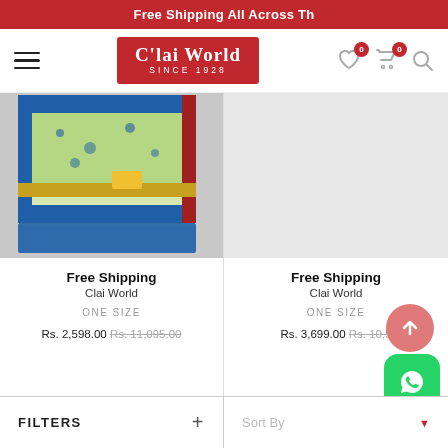Free Shipping All Across Th
[Figure (logo): C'lai World Since 1928 logo, white text on red background]
[Figure (photo): Product photo of a colorful saree with blue and gold pattern on grey background]
Free Shipping
Clai World
ONE SIZE
Rs. 2,598.00 Rs. 11,095.00
Free Shipping
Clai World
ONE SIZE
Rs. 3,699.00 Rs. 10,5...
FILTERS + | Sort By ▼